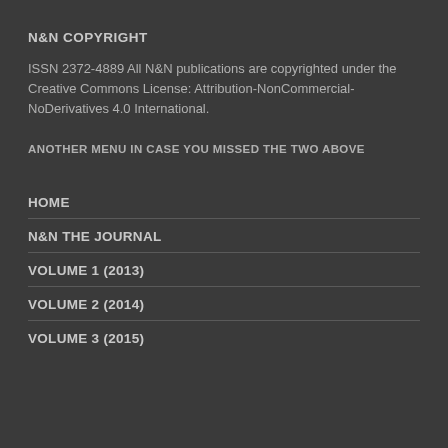N&N COPYRIGHT
ISSN 2372-4889 All N&N publications are copyrighted under the Creative Commons License: Attribution-NonCommercial-NoDerivatives 4.0 International.
ANOTHER MENU IN CASE YOU MISSED THE TWO ABOVE
HOME
N&N THE JOURNAL
VOLUME 1 (2013)
VOLUME 2 (2014)
VOLUME 3 (2015)